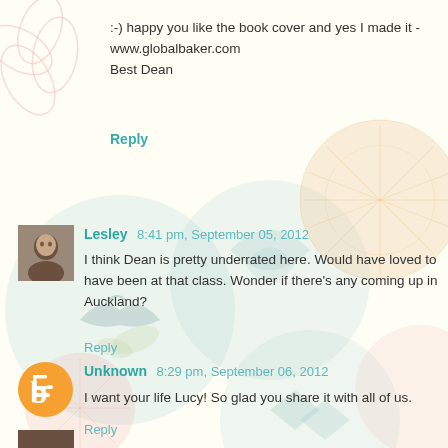:-) happy you like the book cover and yes I made it - www.globalbaker.com
Best Dean
Reply
Lesley 8:41 pm, September 05, 2012
I think Dean is pretty underrated here. Would have loved to have been at that class. Wonder if there's any coming up in Auckland?
Reply
Unknown 8:29 pm, September 06, 2012
I want your life Lucy! So glad you share it with all of us.
Reply